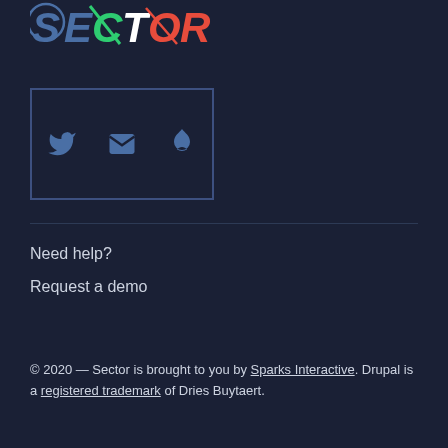[Figure (logo): SECTOR logo with colorful strikethrough letters on dark background]
[Figure (infographic): Social media icons box with Twitter bird, envelope/email, and Drupal drop icons inside a blue-bordered rectangle]
Need help?
Request a demo
© 2020 — Sector is brought to you by Sparks Interactive. Drupal is a registered trademark of Dries Buytaert.